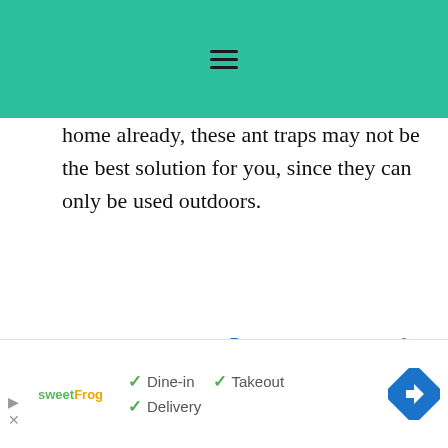≡
home already, these ant traps may not be the best solution for you, since they can only be used outdoors.
8. Home Plus Ant Bait Killer
[Figure (other): Advertisement banner showing sweetFrog logo with Dine-in, Takeout, Delivery options and a navigation arrow icon]